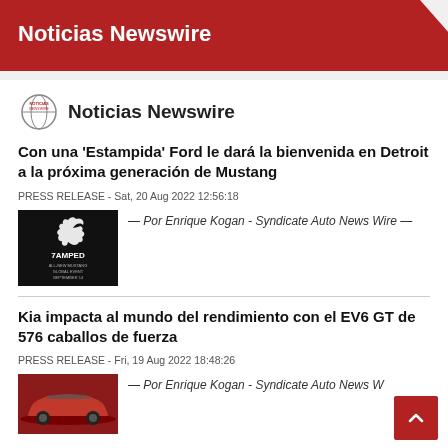Noticias Newswire
Noticias Newswire
Con una 'Estampida' Ford le dará la bienvenida en Detroit a la próxima generación de Mustang
PRESS RELEASE - Sat, 20 Aug 2022 12:56:18
[Figure (photo): Black promotional image for Ford Mustang 'Stampede' event with running horse logo and text '7AMPED ALL-NEW MUSTANG GLOBAL EVENT SEPTEMBER 14']
— Por Enrique Kogan - Syndicate Auto News Wire —
Kia impacta al mundo del rendimiento con el EV6 GT de 576 caballos de fuerza
PRESS RELEASE - Fri, 19 Aug 2022 18:48:26
[Figure (photo): Red Kia EV6 GT car photo]
— Por Enrique Kogan - Syndicate Auto News W